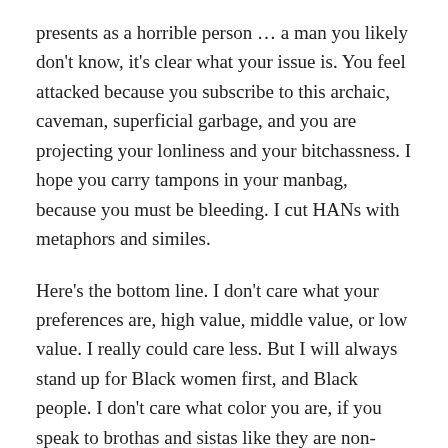presents as a horrible person … a man you likely don't know, it's clear what your issue is. You feel attacked because you subscribe to this archaic, caveman, superficial garbage, and you are projecting your lonliness and your bitchassness. I hope you carry tampons in your manbag, because you must be bleeding. I cut HANs with metaphors and similes.
Here's the bottom line. I don't care what your preferences are, high value, middle value, or low value. I really could care less. But I will always stand up for Black women first, and Black people. I don't care what color you are, if you speak to brothas and sistas like they are non-valuable because they have reached a